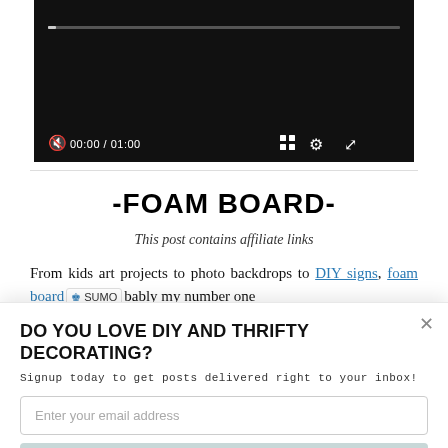[Figure (screenshot): Video player with black background, progress bar at top, controls showing mute icon, 00:00 / 01:00 timestamp, grid icon, settings gear icon, and fullscreen expand icon]
-FOAM BOARD-
This post contains affiliate links
From kids art projects to photo backdrops to DIY signs, foam board [SUMO badge] ably my number one
DO YOU LOVE DIY AND THRIFTY DECORATING?
Signup today to get posts delivered right to your inbox!
Enter your email address
Subscribe Now